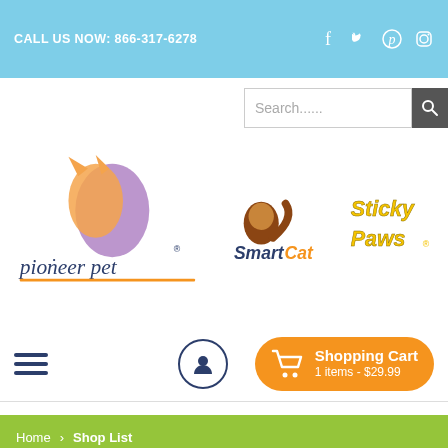CALL US NOW: 866-317-6278
Search......
[Figure (logo): Pioneer Pet logo with SmartCat and Sticky Paws brand logos]
Shopping Cart 1 items - $29.99
Home > Shop List
SHOP LIST
Sort: Sort By Popularity   Per Page:
Leave a message